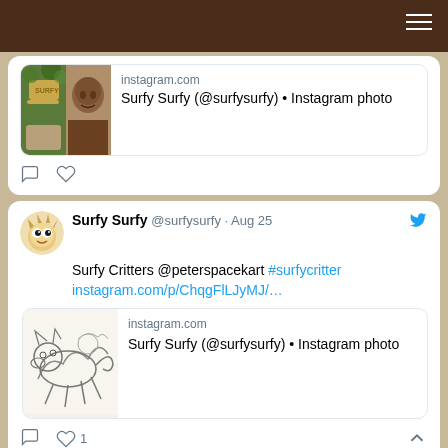[Figure (screenshot): Partial tweet with Instagram link preview showing a photo of a hat and a person]
[Figure (screenshot): Twitter tweet by Surfy Surfy @surfysurfy Aug 25 - Surfy Critters @peterspacekart #surfycritter instagram.com/p/ChqgFlLJyMJ/... with Instagram link preview sketch image]
[Figure (screenshot): Partial tweet by Surfy Surfy @surfysurfy Aug 24 - Just posted a photo @ The Board Source instagram.com/p/Chn5Q0jpd1o/...]